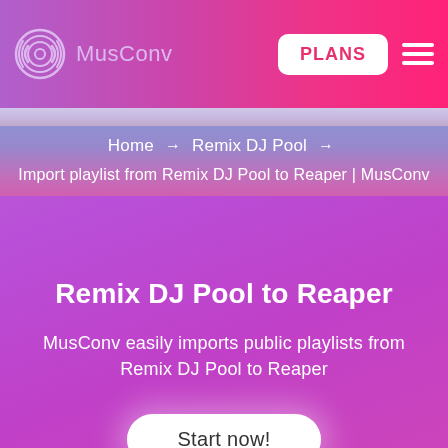MusConv | PLANS
Home → Remix DJ Pool →
Import playlist from Remix DJ Pool to Reaper | MusConv
Remix DJ Pool to Reaper
MusConv easily imports public playlists from Remix DJ Pool to Reaper
Start now!